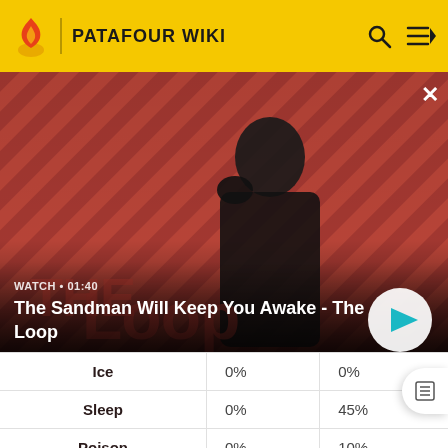PATAFOUR WIKI
[Figure (screenshot): Video banner showing a man in black with a raven on his shoulder, striped red and dark background. Title: The Sandman Will Keep You Awake - The Loop. Watch 01:40]
| Ice | 0% | 0% |
| Sleep | 0% | 45% |
| Poison | 0% | 10% |